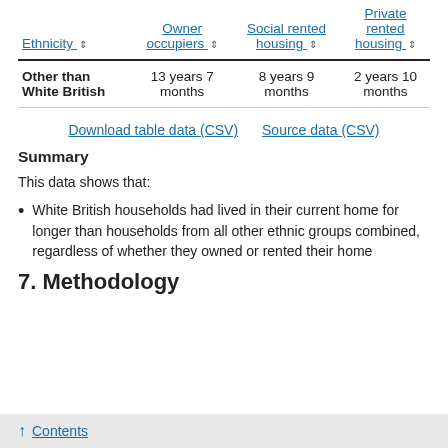| Ethnicity | Owner occupiers | Social rented housing | Private rented housing |
| --- | --- | --- | --- |
| Other than White British | 13 years 7 months | 8 years 9 months | 2 years 10 months |
Download table data (CSV)   Source data (CSV)
Summary
This data shows that:
White British households had lived in their current home for longer than households from all other ethnic groups combined, regardless of whether they owned or rented their home
7. Methodology
↑ Contents